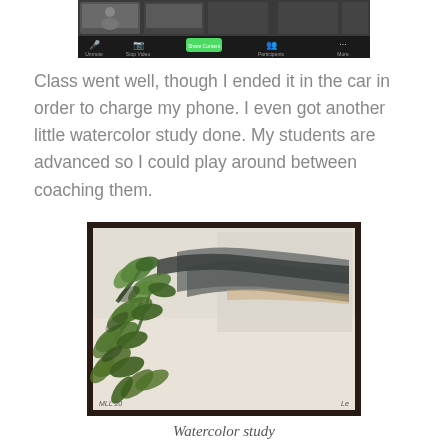[Figure (screenshot): Screenshot of a video conferencing application (Zoom) showing toolbar with camera, Stop Video, Share Content, Participants, and More buttons at the bottom, and participant video thumbnails at the top.]
Class went well, though I ended it in the car in order to charge my phone. I even got another little watercolor study done. My students are advanced so I could play around between coaching them.
[Figure (photo): A watercolor painting on white paper showing green foliage/plants (possibly seaweed or tree branches) with dark gray/black rocky or mountain-like forms. Signed 'MLL 20' in lower left corner.]
Watercolor study